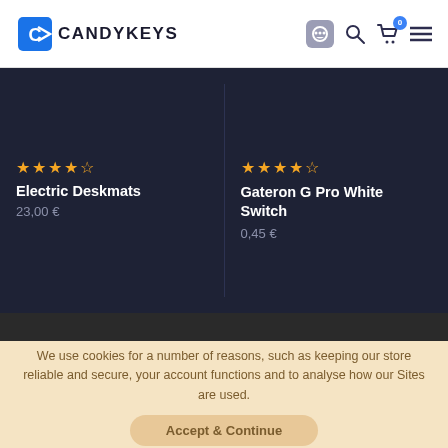CANDYKEYS
[Figure (screenshot): Product listing cards on dark background showing Electric Deskmats (23,00 €, 5 stars) and Gateron G Pro White Switch (0,45 €, 5 stars)]
We use cookies for a number of reasons, such as keeping our store reliable and secure, your account functions and to analyse how our Sites are used.
Accept & Continue